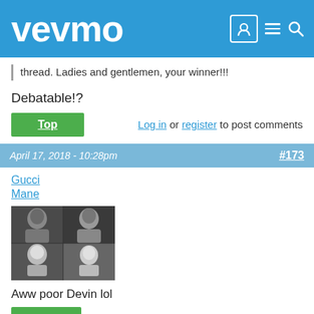vevmo
thread. Ladies and gentlemen, your winner!!!
Debatable!?
Top   Log in or register to post comments
April 17, 2018 - 10:28pm  #173
Gucci Mane
[Figure (photo): User avatar image grid showing 4 black and white photos in a 2x2 grid]
Aww poor Devin lol